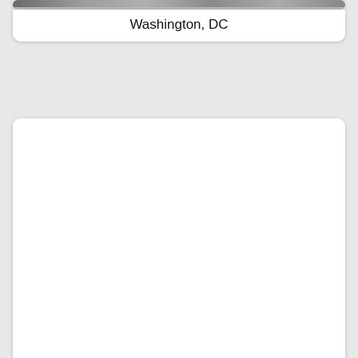[Figure (photo): Partially visible photo strip at the top of the page showing buildings/street scenes]
Washington, DC
[Figure (photo): Large white card area for New York, NY with mostly blank/white photo area]
New York, NY
[Figure (photo): Partially visible third card at the bottom of the page]